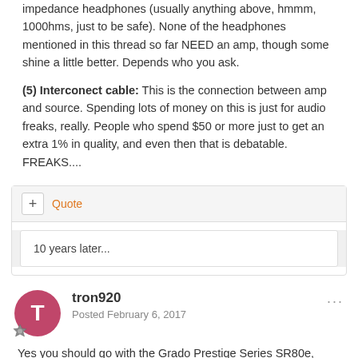impedance headphones (usually anything above, hmmm, 1000hms, just to be safe). None of the headphones mentioned in this thread so far NEED an amp, though some shine a little better. Depends who you ask.
(5) Interconect cable: This is the connection between amp and source. Spending lots of money on this is just for audio freaks, really. People who spend $50 or more just to get an extra 1% in quality, and even then that is debatable. FREAKS....
Quote
10 years later...
tron920
Posted February 6, 2017
Yes you should go with the Grado Prestige Series SR80e, because I bought it a long time ago and its the most amazing headphone under $100 and I think you should go for it, but it leaks sound, because of the open back design. So, as long you are ok with that, you its the best